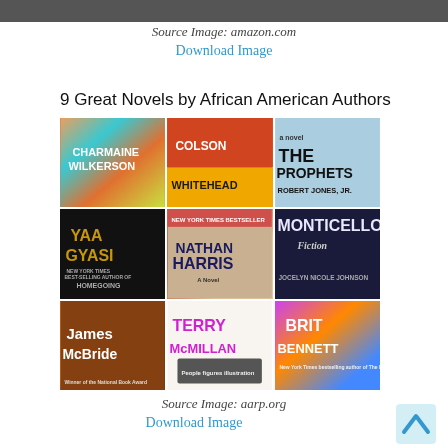[Figure (photo): Partial top edge of a book cover or image, cropped at top of page]
Source Image: amazon.com
Download Image
9 Great Novels by African American Authors
[Figure (photo): 3x3 grid of book covers by African American authors: Charmaine Wilkerson, Colson Whitehead, The Prophets by Robert Jones Jr., Yaa Gyasi (Homegoing), Nathan Harris, Monticello by Jocelyn Nicole Johnson, James McBride, Terry McMillan, Brit Bennett]
Source Image: aarp.org
Download Image